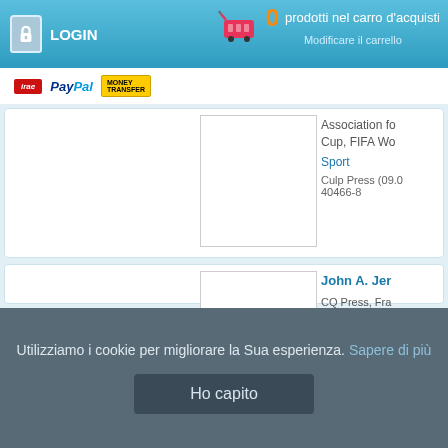LOGIN | 0 prodotti nel carro d'acquisti | Modificare il carrello
[Figure (screenshot): Payment logos: IBAN (red), PayPal, Western Union Money Transfer]
Association fo... Cup, FIFA Wo...
Sport
Culp Press (09.0... 40466-8
[Figure (photo): Book cover placeholder image (white box)]
John A. Jer...
CQ Press, Fra... Davis, Bureau...
Media, commu...
Culp Press (09.0... 40534-4
[Figure (photo): Book cover placeholder image (white box)]
Utilizziamo i cookie per migliorare la Sua esperienza. Sapere di più
Ho capito